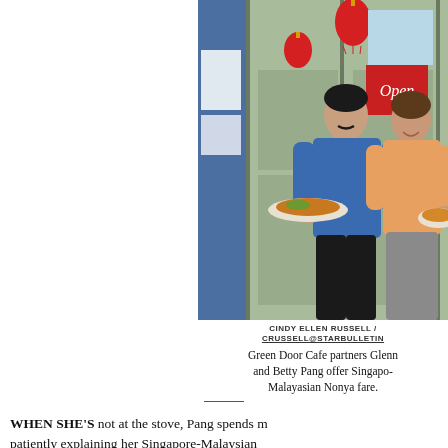[Figure (photo): Two people, a man in a blue shirt and a woman in a peach/orange top, standing in front of a green door with red Chinese lanterns hanging above. Both are holding plates of food. There is an 'Open' sign visible and a blue storefront to the left.]
CINDY ELLEN RUSSELL / CRUSSELL@STARBULLETIN Green Door Cafe partners Glenn and Betty Pang offer Singapore-Malayasian Nonya fare.
WHEN SHE'S not at the stove, Pang spends much of her time patiently explaining her Singapore-Malaysian...